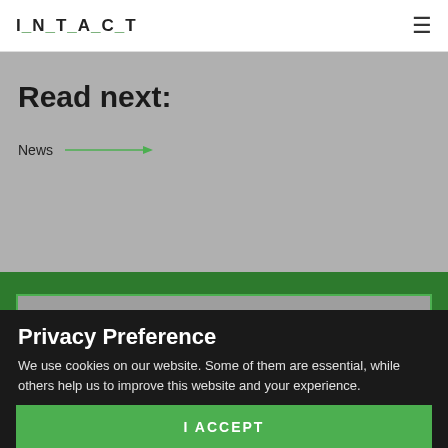I_N_T_A_C_T
Read next:
News →
[Figure (photo): Gray image placeholder card on dark green background section]
Privacy Preference
We use cookies on our website. Some of them are essential, while others help us to improve this website and your experience.
I ACCEPT